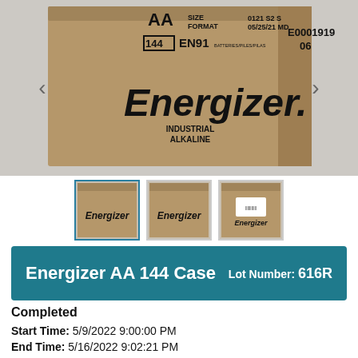[Figure (photo): A brown cardboard box labeled Energizer Industrial Alkaline AA batteries, 144 count, EN91. Box shows markings: AA SIZE FORMAT, 144 EN91, BATTERIES/PILES/PILAS, E0001919 06. Date code 0121 S2 S 05/25/21 MD visible at top.]
[Figure (photo): Three thumbnail images of the same Energizer AA 144 count cardboard box from different angles. First thumbnail is active/selected with blue border.]
Energizer AA 144 Case   Lot Number: 616R
Completed
Start Time: 5/9/2022 9:00:00 PM
End Time: 5/16/2022 9:02:21 PM